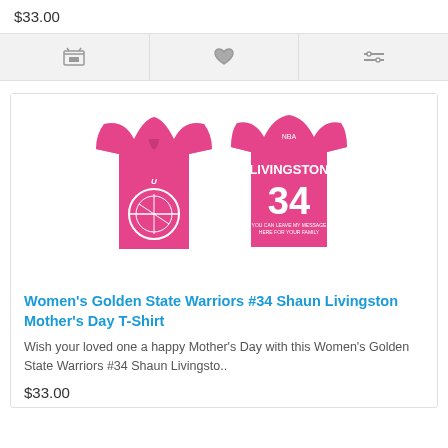$33.00
[Figure (other): Three icon buttons: shopping cart, heart/wishlist, and compare]
[Figure (photo): Women's pink Golden State Warriors #34 Shaun Livingston Mother's Day T-Shirt shown from front and back. The front has the Golden State Warriors basketball logo in white. The back shows LIVINGSTON 34 in white letters with NBA logo.]
Women's Golden State Warriors #34 Shaun Livingston Mother's Day T-Shirt
Wish your loved one a happy Mother's Day with this Women's Golden State Warriors #34 Shaun Livingsto..
$33.00